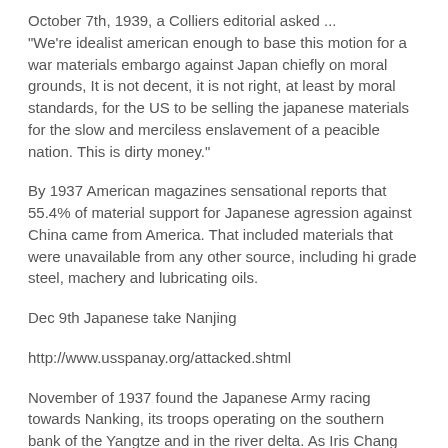October 7th, 1939, a Colliers editorial asked ...
"We're idealist american enough to base this motion for a war materials embargo against Japan chiefly on moral grounds, It is not decent, it is not right, at least by moral standards, for the US to be selling the japanese materials for the slow and merciless enslavement of a peacible nation. This is dirty money."
By 1937 American magazines sensational reports that 55.4% of material support for Japanese agression against China came from America. That included materials that were unavailable from any other source, including hi grade steel, machery and lubricating oils.
Dec 9th Japanese take Nanjing
http://www.usspanay.org/attacked.shtml
November of 1937 found the Japanese Army racing towards Nanking, its troops operating on the southern bank of the Yangtze and in the river delta. As Iris Chang recounts in The Rape of Nanking, the Japanese army left a swath of